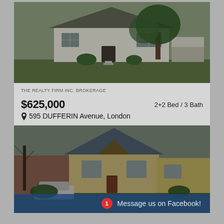[Figure (photo): Exterior photo of a single-storey white residential house with green lawn and large tree]
THE REALTY FIRM INC. BROKERAGE
$625,000
2+2 Bed / 3 Bath
595 DUFFERIN Avenue, London
[Figure (photo): Exterior photo of a two-storey brick and stone residential house with tree and parked car]
Message us on Facebook!